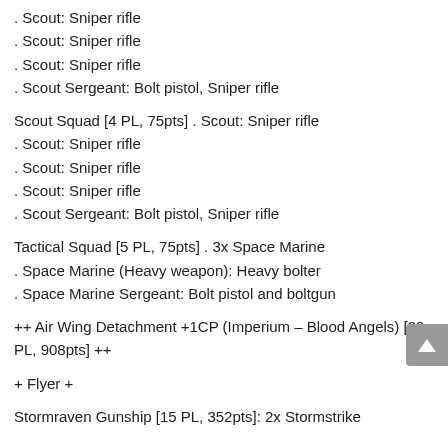. Scout: Sniper rifle
. Scout: Sniper rifle
. Scout: Sniper rifle
. Scout Sergeant: Bolt pistol, Sniper rifle
Scout Squad [4 PL, 75pts] . Scout: Sniper rifle
. Scout: Sniper rifle
. Scout: Sniper rifle
. Scout: Sniper rifle
. Scout Sergeant: Bolt pistol, Sniper rifle
Tactical Squad [5 PL, 75pts] . 3x Space Marine
. Space Marine (Heavy weapon): Heavy bolter
. Space Marine Sergeant: Bolt pistol and boltgun
++ Air Wing Detachment +1CP (Imperium – Blood Angels) [39 PL, 908pts] ++
+ Flyer +
Stormraven Gunship [15 PL, 352pts]: 2x Stormstrike